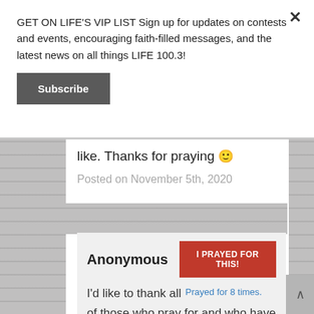GET ON LIFE'S VIP LIST Sign up for updates on contests and events, encouraging faith-filled messages, and the latest news on all things LIFE 100.3!
Subscribe
like. Thanks for praying 🙂
Posted on November 5th, 2020
Anonymous
I PRAYED FOR THIS!
Prayed for 8 times.
I'd like to thank all of those who pray for and who have prayed for me..including Life 100.3 staff and friends.